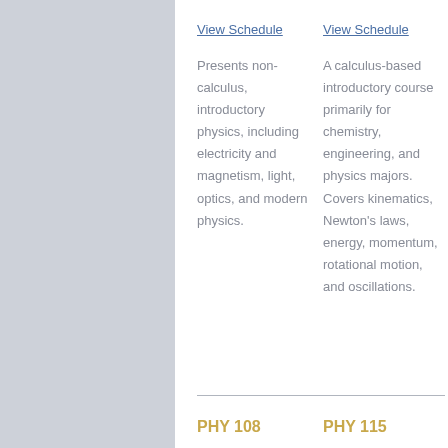View Schedule
View Schedule
Presents non-calculus, introductory physics, including electricity and magnetism, light, optics, and modern physics.
A calculus-based introductory course primarily for chemistry, engineering, and physics majors. Covers kinematics, Newton's laws, energy, momentum, rotational motion, and oscillations.
PHY 108
PHY 115